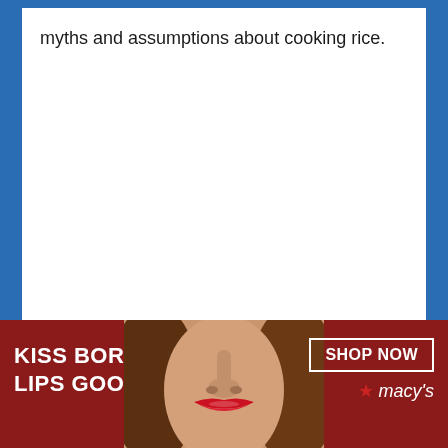myths and assumptions about cooking rice.
[Figure (photo): Advertisement banner for Macy's featuring a woman with red lips and the text 'KISS BORING LIPS GOODBYE' on the left, a woman's face with red lipstick in the center, and 'SHOP NOW' button with Macy's star logo on the right.]